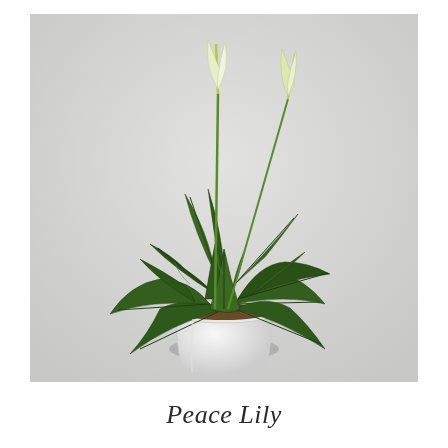[Figure (photo): A peace lily plant with dark green glossy leaves and white spathe flowers, planted in a white ceramic pot with brown moss at the base, photographed against a light grey background.]
Peace Lily